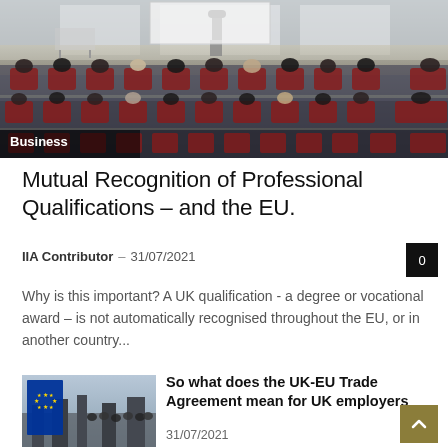[Figure (photo): Lecture hall with audience seated, presenter standing at front near whiteboard]
Business
Mutual Recognition of Professional Qualifications – and the EU.
IIA Contributor – 31/07/2021
Why is this important? A UK qualification - a degree or vocational award – is not automatically recognised throughout the EU, or in another country...
[Figure (photo): EU flag being waved in a crowd against a city skyline]
So what does the UK-EU Trade Agreement mean for UK employers
31/07/2021